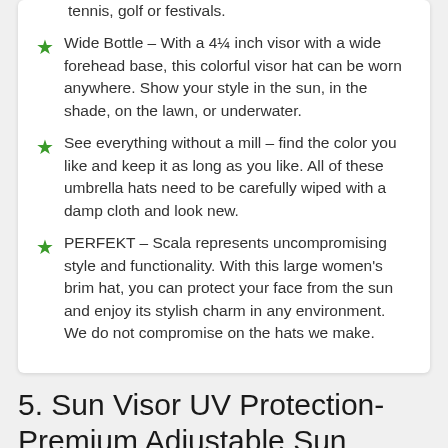tennis, golf or festivals.
Wide Bottle – With a 4¼ inch visor with a wide forehead base, this colorful visor hat can be worn anywhere. Show your style in the sun, in the shade, on the lawn, or underwater.
See everything without a mill – find the color you like and keep it as long as you like. All of these umbrella hats need to be carefully wiped with a damp cloth and look new.
PERFEKT – Scala represents uncompromising style and functionality. With this large women's brim hat, you can protect your face from the sun and enjoy its stylish charm in any environment. We do not compromise on the hats we make.
5. Sun Visor UV Protection-Premium Adjustable Sun Protection Bandage Face Protection (Black / Mirroring) – Affordable